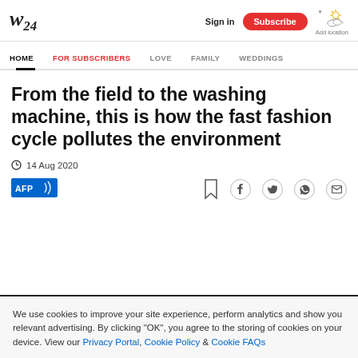W24 | Sign in | Subscribe | Add location
HOME | FOR SUBSCRIBERS | LOVE | FAMILY | WEDDINGS
From the field to the washing machine, this is how the fast fashion cycle pollutes the environment
14 Aug 2020
[Figure (logo): AFP logo badge in blue]
We use cookies to improve your site experience, perform analytics and show you relevant advertising. By clicking "OK", you agree to the storing of cookies on your device. View our Privacy Portal, Cookie Policy & Cookie FAQs
Privacy Portal, Cookie Policy & Cookie FAQs